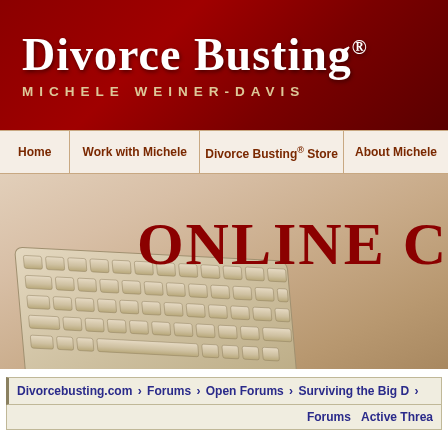Divorce Busting® Michele Weiner-Davis
Home | Work with Michele | Divorce Busting® Store | About Michele
[Figure (screenshot): Hero banner with keyboard photograph and 'ONLINE C' text in dark red serif font]
Divorcebusting.com > Forums > Open Forums > Surviving the Big D
Forums   Active Threa...
◄ Previous Thread
Print Thread
Merry Christmas